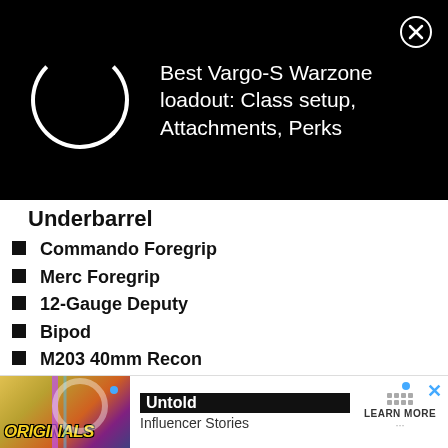[Figure (screenshot): Black notification/loading banner with a spinning circle loader on the left and text 'Best Vargo-S Warzone loadout: Class setup, Attachments, Perks' on the right, with a close (X) button in the top-right corner.]
Underbarrel
Commando Foregrip
Merc Foregrip
12-Gauge Deputy
Bipod
M203 40mm Recon
M203 40mm Concussive
Ranger Foregrip
M203 40mm Flash
M203 40mm Smokescreen
Tac…
M2…
[Figure (screenshot): Advertisement banner at bottom showing 'ORIGINALS' logo with colorful background, 'Untold Influencer Stories' text, and 'LEARN MORE' button with dots grid, plus X close button.]